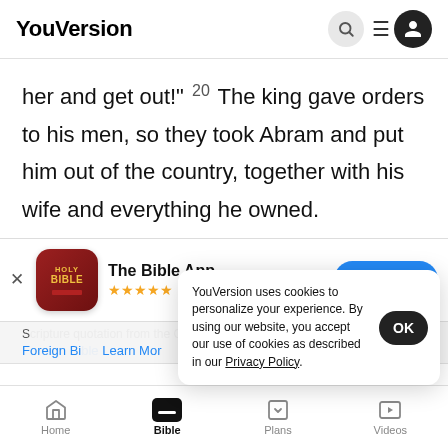YouVersion
her and get out!" 20 The king gave orders to his men, so they took Abram and put him out of the country, together with his wife and everything he owned.
[Figure (screenshot): App store banner for The Bible App with Holy Bible icon, 5 stars, 7.9M ratings, and Download button]
YouVersion uses cookies to personalize your experience. By using our website, you accept our use of cookies as described in our Privacy Policy.
Home   Bible   Plans   Videos